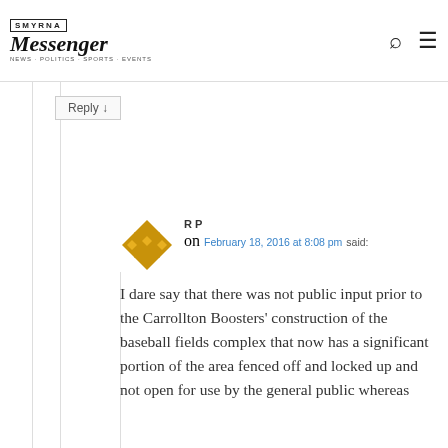Messenger
Reply ↓
R P
on February 18, 2016 at 8:08 pm said:
I dare say that there was not public input prior to the Carrollton Boosters' construction of the baseball fields complex that now has a significant portion of the area fenced off and locked up and not open for use by the general public whereas